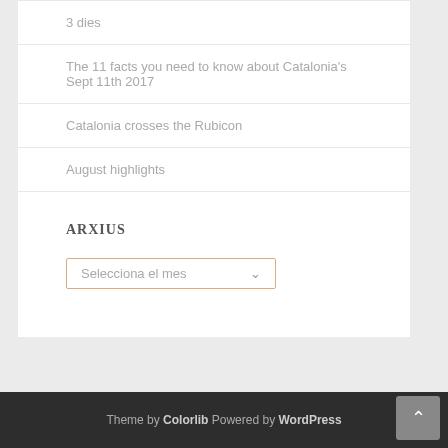3 dies
The 11 facts you need to know about Catalonia's Sept 11th 2017
Catalonia crosses the Rubicon
August highlights
ARXIUS
Selecciona el mes
Theme by Colorlib Powered by WordPress